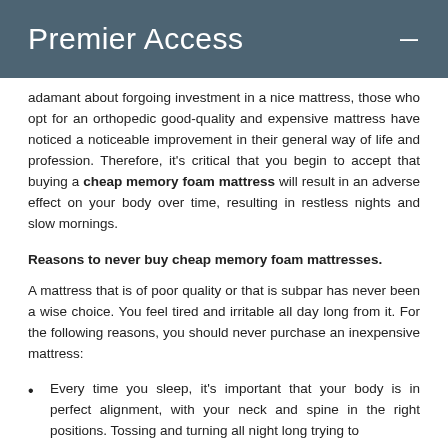Premier Access
adamant about forgoing investment in a nice mattress, those who opt for an orthopedic good-quality and expensive mattress have noticed a noticeable improvement in their general way of life and profession. Therefore, it's critical that you begin to accept that buying a cheap memory foam mattress will result in an adverse effect on your body over time, resulting in restless nights and slow mornings.
Reasons to never buy cheap memory foam mattresses.
A mattress that is of poor quality or that is subpar has never been a wise choice. You feel tired and irritable all day long from it. For the following reasons, you should never purchase an inexpensive mattress:
Every time you sleep, it's important that your body is in perfect alignment, with your neck and spine in the right positions. Tossing and turning all night long trying to